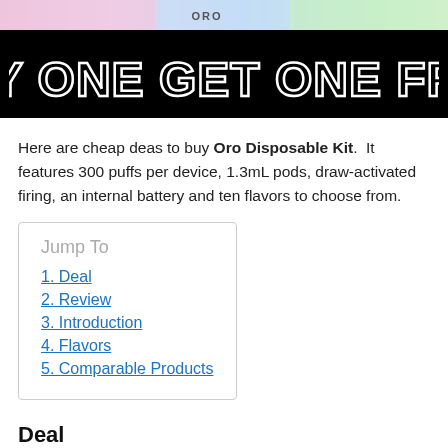[Figure (illustration): Partial top image strip showing product packaging in pink, blue, and green colors with 'ORO' text visible]
[Figure (infographic): Black banner with white outlined bold text reading 'BUY ONE GET ONE FREE']
Here are cheap deas to buy Oro Disposable Kit.  It features 300 puffs per device, 1.3mL pods, draw-activated firing, an internal battery and ten flavors to choose from.
Jump To
1. Deal
2. Review
3. Introduction
4. Flavors
5. Comparable Products
Deal
USA Deal: $4.05/Each  Get This Deal!  Use coupon code